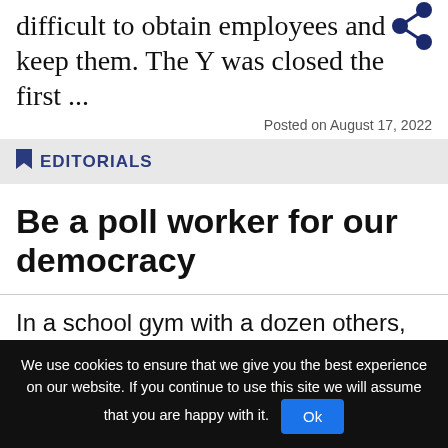difficult to obtain employees and keep them. The Y was closed the first ...
Posted on August 17, 2022
EDITORIALS
Be a poll worker for our democracy
In a school gym with a dozen others, some still groggy at 5 a.m., Whitney raised her right hand and repeated after the chief election officer, “I do solemnly swear that I will perform the duties for this election as directed by...
We use cookies to ensure that we give you the best experience on our website. If you continue to use this site we will assume that you are happy with it.